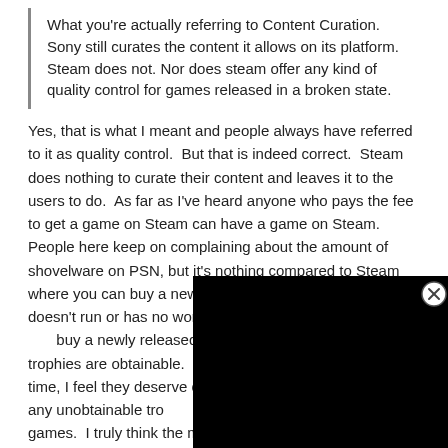What you're actually referring to Content Curation. Sony still curates the content it allows on its platform. Steam does not. Nor does steam offer any kind of quality control for games released in a broken state.
Yes, that is what I meant and people always have referred to it as quality control.  But that is indeed correct.  Steam does nothing to curate their content and leaves it to the users to do.  As far as I've heard anyone who pays the fee to get a game on Steam can have a game on Steam.  People here keep on complaining about the amount of shovelware on PSN, but it's nothing compared to Steam where you can buy a newly released game and find it doesn't run or has no working achiev[ements]. On PSN you can buy a newly released game and be c[onfident that] the trophies are obtainable.  For all t[he flak Sony gets] all the time, I feel they deserve credi[t for sticking] and not having any unobtainable tro[phies and sticking] to good quality games.  I truly think the majority of people who only play on PSN don't even have any clue what shovelware really looks like because the true shovelware doesn't see the light of day on PSN.